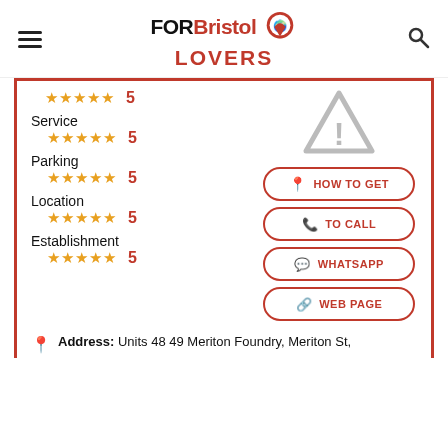FOR Bristol LOVERS
Service
★★★★★ 5
Parking
★★★★★ 5
Location
★★★★★ 5
Establishment
★★★★★ 5
[Figure (illustration): Warning triangle icon with exclamation mark, grey outline]
HOW TO GET
TO CALL
WHATSAPP
WEB PAGE
Address: Units 48 49 Meriton Foundry, Meriton St,